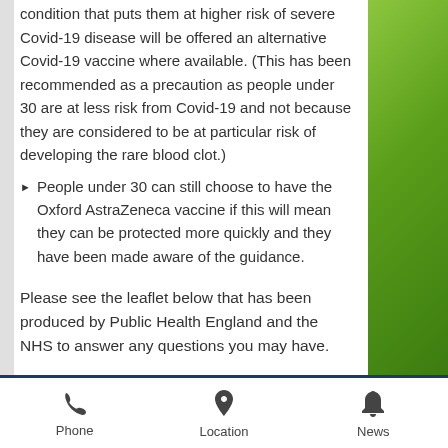condition that puts them at higher risk of severe Covid-19 disease will be offered an alternative Covid-19 vaccine where available. (This has been recommended as a precaution as people under 30 are at less risk from Covid-19 and not because they are considered to be at particular risk of developing the rare blood clot.)
People under 30 can still choose to have the Oxford AstraZeneca vaccine if this will mean they can be protected more quickly and they have been made aware of the guidance.
Please see the leaflet below that has been produced by Public Health England and the NHS to answer any questions you may have.
Phone   Location   News